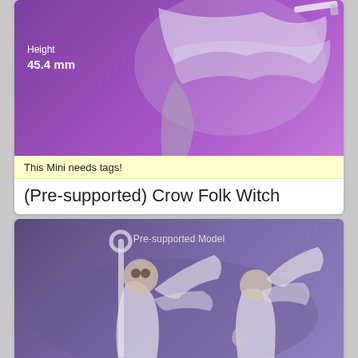[Figure (photo): Painted miniature figurine of a crow/bird folk witch character with wings spread and knife, set against a purple gradient background. Height label shows 45.4 mm.]
This Mini needs tags!
(Pre-supported) Crow Folk Witch
[Figure (photo): Two unpainted white resin miniature figurines of owl/bird folk characters with wings spread, one holding a staff, set against a purple background. Label reads 'Pre-supported Model'.]
This Mini needs tags!